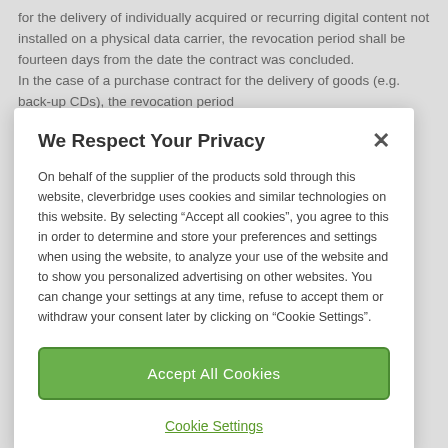for the delivery of individually acquired or recurring digital content not installed on a physical data carrier, the revocation period shall be fourteen days from the date the contract was concluded.
In the case of a purchase contract for the delivery of goods (e.g. back-up CDs), the revocation period
We Respect Your Privacy
On behalf of the supplier of the products sold through this website, cleverbridge uses cookies and similar technologies on this website. By selecting "Accept all cookies", you agree to this in order to determine and store your preferences and settings when using the website, to analyze your use of the website and to show you personalized advertising on other websites. You can change your settings at any time, refuse to accept them or withdraw your consent later by clicking on "Cookie Settings".
Accept All Cookies
Cookie Settings